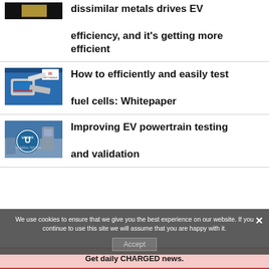[Figure (photo): Partial golden/metallic texture image, top of page]
dissimilar metals drives EV efficiency, and it's getting more efficient
[Figure (photo): Blue promotional image showing testing equipment with Hottinger Baldwin Messtechnik logo]
How to efficiently and easily test fuel cells: Whitepaper
[Figure (photo): Industrial image with UNICO Universal Testing logo]
Improving EV powertrain testing and validation
We use cookies to ensure that we give you the best experience on our website. If you continue to use this site we will assume that you are happy with it.
Accept
Get daily CHARGED news.